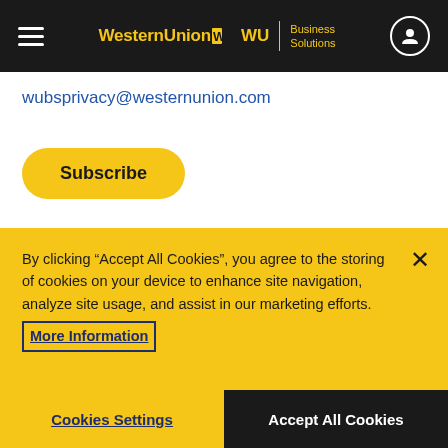Western Union WU Business Solutions
wubsprivacy@westernunion.com
Subscribe
CURRENCY NEWS - RECENT
By clicking “Accept All Cookies”, you agree to the storing of cookies on your device to enhance site navigation, analyze site usage, and assist in our marketing efforts. More Information
Cookies Settings
Accept All Cookies